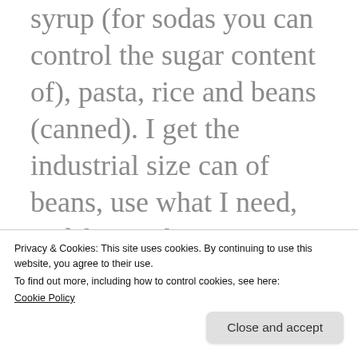syrup (for sodas you can control the sugar content of), pasta, rice and beans (canned). I get the industrial size can of beans, use what I need, and freeze the rest in small containers. You don't have to buy industrial sizes either, they offer “normal” sizes of most products as well. It is a much more sane shopping experience than Costco.
Privacy & Cookies: This site uses cookies. By continuing to use this website, you agree to their use.
To find out more, including how to control cookies, see here: Cookie Policy
syrup (Grade B) from Azure Standard.